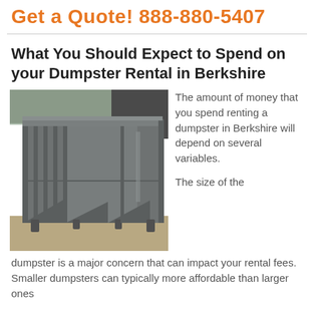Get a Quote! 888-880-5407
What You Should Expect to Spend on your Dumpster Rental in Berkshire
[Figure (photo): Photo of a large grey steel roll-off dumpster rental container sitting outdoors on gravel.]
The amount of money that you spend renting a dumpster in Berkshire will depend on several variables.
The size of the dumpster is a major concern that can impact your rental fees. Smaller dumpsters can typically more affordable than larger ones